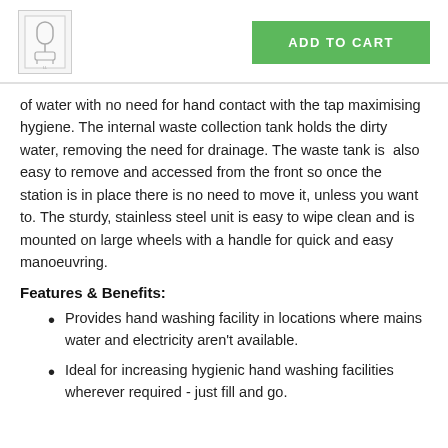[Figure (photo): Small product thumbnail image of a hand washing station unit]
ADD TO CART
of water with no need for hand contact with the tap maximising hygiene. The internal waste collection tank holds the dirty water, removing the need for drainage. The waste tank is also easy to remove and accessed from the front so once the station is in place there is no need to move it, unless you want to. The sturdy, stainless steel unit is easy to wipe clean and is mounted on large wheels with a handle for quick and easy manoeuvring.
Features & Benefits:
Provides hand washing facility in locations where mains water and electricity aren't available.
Ideal for increasing hygienic hand washing facilities wherever required - just fill and go.